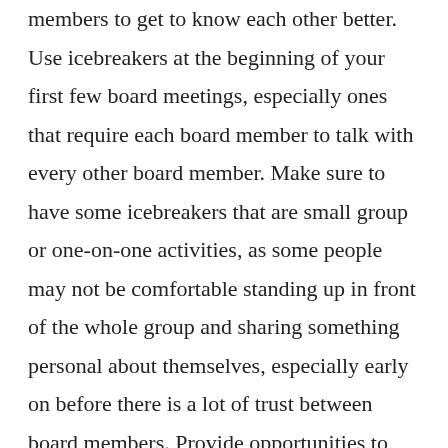members to get to know each other better. Use icebreakers at the beginning of your first few board meetings, especially ones that require each board member to talk with every other board member. Make sure to have some icebreakers that are small group or one-on-one activities, as some people may not be comfortable standing up in front of the whole group and sharing something personal about themselves, especially early on before there is a lot of trust between board members. Provide opportunities to socialize together, either with refreshments after your board meeting or on a specific board outing to a coffee shop or other social setting.